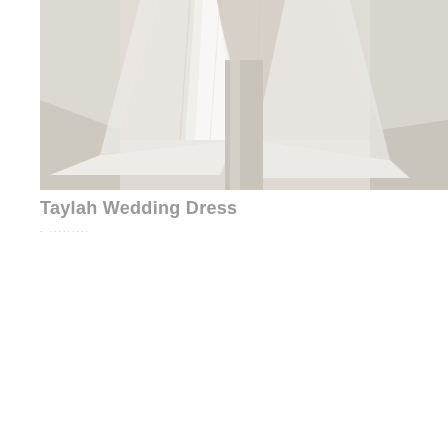[Figure (photo): A close-up photograph of a white wedding dress with flowing tulle fabric and a long train, photographed against a light beige/cream background. Only the lower portion of the dress and train are visible.]
Taylah Wedding Dress
- .........